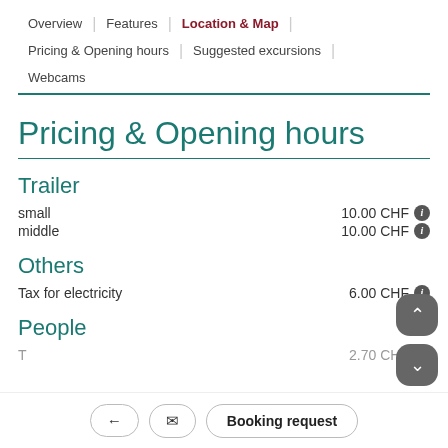Overview | Features | Location & Map | Pricing & Opening hours | Suggested excursions | Webcams
Pricing & Opening hours
Trailer
small    10.00 CHF
middle   10.00 CHF
Others
Tax for electricity    6.00 CHF
People
T…    2.70 CHF